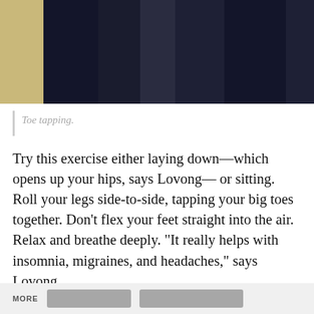[Figure (photo): Photo of a person in a dark navy jacket, cropped to show torso/lower body against a tan/beige background. Only the lower portion of the image is visible.]
Toe tapping.
Try this exercise either laying down—which opens up your hips, says Lovong— or sitting. Roll your legs side-to-side, tapping your big toes together. Don’t flex your feet straight into the air. Relax and breathe deeply. “It really helps with insomnia, migraines, and headaches,” says Lovong.
MORE